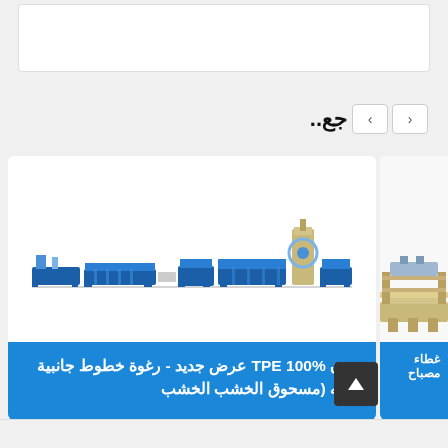اتصال
جع..
[Figure (screenshot): Industrial extrusion machine line with blue and beige components]
بدون 100% TPE عرض جديد - رغوة خطوط جانبية تشبه (مسحوق الخشب الخشب
[Figure (screenshot): Partial view of another industrial machine]
غطاء مصباح